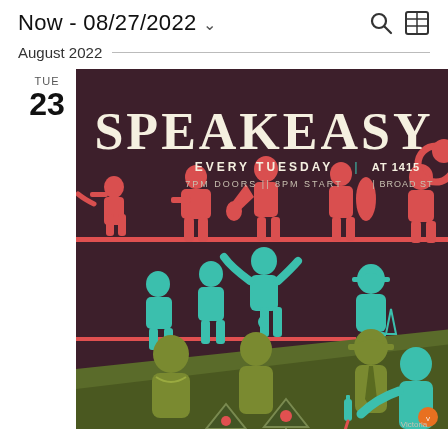Now - 08/27/2022
August 2022
TUE
23
[Figure (illustration): Speakeasy event poster with art-deco style. Dark maroon background with teal, red/coral, and olive-green illustrated figures of jazz musicians playing trumpet, guitar, bass, tuba, and patrons socializing at a bar. Large white text reads SPEAKEASY. Subtitle: EVERY TUESDAY | AT 1415 / 7PM DOORS || 8PM START | BROAD ST. Logo at bottom right reads Victoria.]